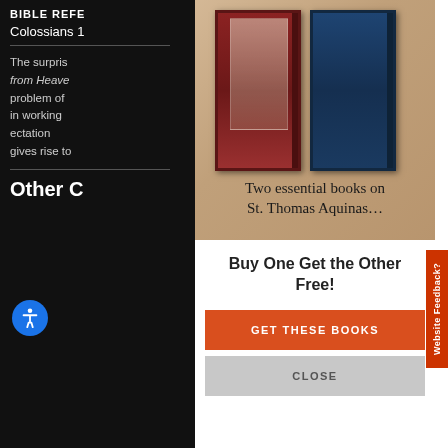BIBLE REFE
Colossians 1
The surpris from Heaven problem of in working ectation gives rise to
Other C
[Figure (photo): Advertisement showing two books on St. Thomas Aquinas with a parchment background. The left book has a dark red cover, the right has a dark navy cover. Text reads 'Two essential books on St. Thomas Aquinas...']
Buy One Get the Other Free!
GET THESE BOOKS
CLOSE
Website Feedback?